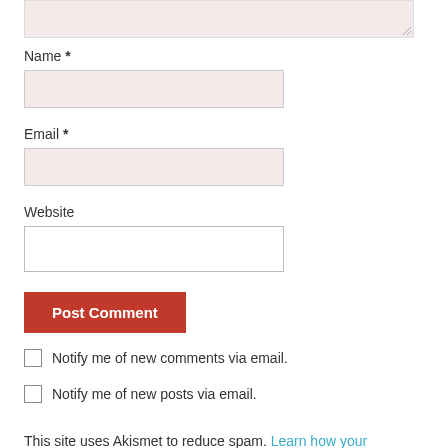Name *
[Figure (screenshot): Name input field, pink/light red background, white border]
Email *
[Figure (screenshot): Email input field, pink/light red background, white border]
Website
[Figure (screenshot): Website input field, white background, gray border]
[Figure (screenshot): Post Comment button, red/dark orange background, white text]
Notify me of new comments via email.
Notify me of new posts via email.
This site uses Akismet to reduce spam. Learn how your comment data is processed.